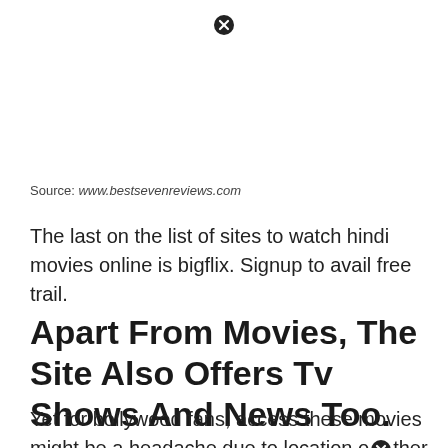[Figure (other): Close/dismiss icon (circled X) at top center of page]
Source: www.bestsevenreviews.com
The last on the list of sites to watch hindi movies online is bigflix. Signup to avail free trail.
Apart From Movies, The Site Also Offers Tv Shows And News Too.
Yet for bollywood fans, access these movies might be a headache due to location or other reasons. 50/month to
[Figure (other): Close/dismiss icon (circled X) mid-lower area of page, inline with text]